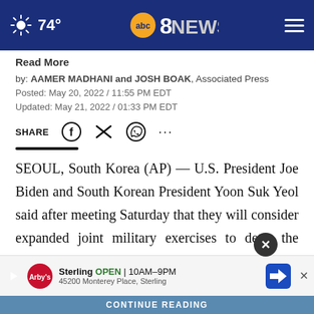74° | ABC 8 News
Read More
by: AAMER MADHANI and JOSH BOAK, Associated Press
Posted: May 20, 2022 / 11:55 PM EDT
Updated: May 21, 2022 / 01:33 PM EDT
SEOUL, South Korea (AP) — U.S. President Joe Biden and South Korean President Yoon Suk Yeol said after meeting Saturday that they will consider expanded joint military exercises to deter the nuclear threat from North Korea at a time when there's little hope of real di…